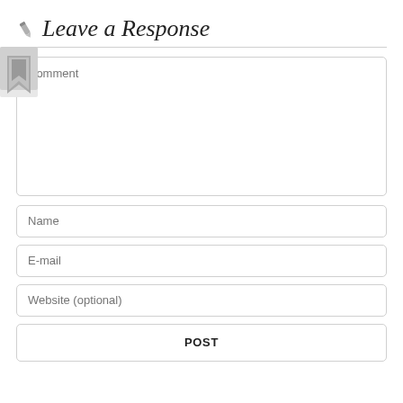Leave a Response
[Figure (illustration): Pencil/edit icon next to the title and a bookmark icon on the left side below the divider line]
Comment
Name
E-mail
Website (optional)
POST